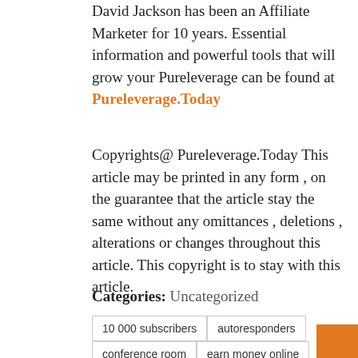David Jackson has been an Affiliate Marketer for 10 years. Essential information and powerful tools that will grow your Pureleverage can be found at Pureleverage.Today
Copyrights@ Pureleverage.Today This article may be printed in any form , on the guarantee that the article stay the same without any omittances , deletions , alterations or changes throughout this article. This copyright is to stay with this article.
Categories: Uncategorized
10 000 subscribers
autoresponders
conference room
earn money online